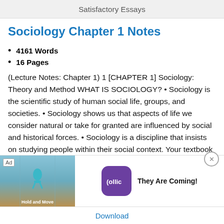Satisfactory Essays
Sociology Chapter 1 Notes
4161 Words
16 Pages
(Lecture Notes: Chapter 1) 1 [CHAPTER 1] Sociology: Theory and Method WHAT IS SOCIOLOGY? • Sociology is the scientific study of human social life, groups, and societies. • Sociology shows us that aspects of life we consider natural or take for granted are influenced by social and historical forces. • Sociology is a discipline that insists on studying people within their social context. Your textbook begins by defining sociology and then by asking you to consider an unlikely topic—autism— sociolo...